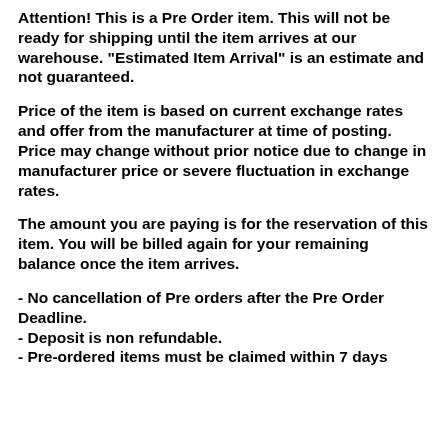Attention! This is a Pre Order item. This will not be ready for shipping until the item arrives at our warehouse. "Estimated Item Arrival" is an estimate and not guaranteed.
Price of the item is based on current exchange rates and offer from the manufacturer at time of posting. Price may change without prior notice due to change in manufacturer price or severe fluctuation in exchange rates.
The amount you are paying is for the reservation of this item. You will be billed again for your remaining balance once the item arrives.
- No cancellation of Pre orders after the Pre Order Deadline.
- Deposit is non refundable.
- Pre-ordered items must be claimed within 7 days